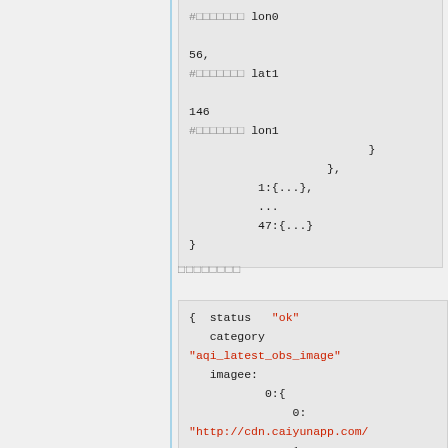#□□□□□□□ lon0
56,
#□□□□□□□ lat1

146
#□□□□□□□ lon1
}
},
1:{...},
...
47:{...}
}
□□□□□□□□
{ status "ok"
    category
"aqi_latest_obs_image"
    imagee:
            0:{
                0:
"http://cdn.caiyunapp.com/
                1: